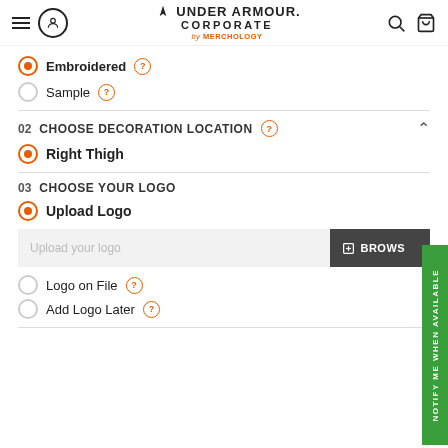Under Armour Corporate by Merchology
Embroidered (selected)
Sample
02 CHOOSE DECORATION LOCATION
Right Thigh (selected)
03 CHOOSE YOUR LOGO
Upload Logo (selected)
Upload your logo
BROWSE
Logo on File
Add Logo Later